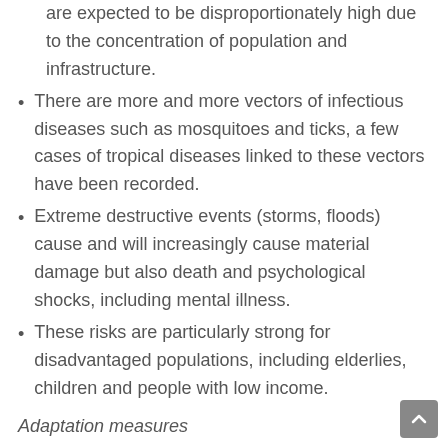are expected to be disproportionately high due to the concentration of population and infrastructure.
There are more and more vectors of infectious diseases such as mosquitoes and ticks, a few cases of tropical diseases linked to these vectors have been recorded.
Extreme destructive events (storms, floods) cause and will increasingly cause material damage but also death and psychological shocks, including mental illness.
These risks are particularly strong for disadvantaged populations, including elderlies, children and people with low income.
Adaptation measures